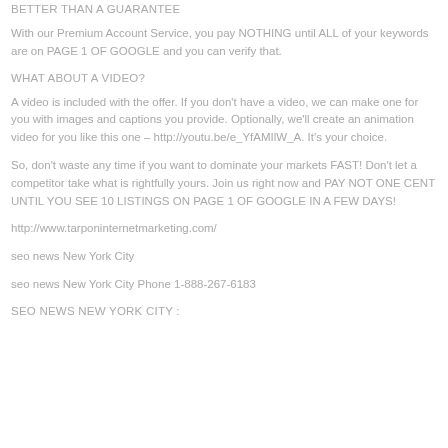BETTER THAN A GUARANTEE
With our Premium Account Service, you pay NOTHING until ALL of your keywords are on PAGE 1 OF GOOGLE and you can verify that.
WHAT ABOUT A VIDEO?
A video is included with the offer. If you don't have a video, we can make one for you with images and captions you provide. Optionally, we'll create an animation video for you like this one – http://youtu.be/e_YfAMIlW_A. It's your choice.
So, don't waste any time if you want to dominate your markets FAST! Don't let a competitor take what is rightfully yours. Join us right now and PAY NOT ONE CENT UNTIL YOU SEE 10 LISTINGS ON PAGE 1 OF GOOGLE IN A FEW DAYS!
http://www.tarponinternetmarketing.com/
seo news New York City
seo news New York City Phone 1-888-267-6183
SEO NEWS NEW YORK CITY :